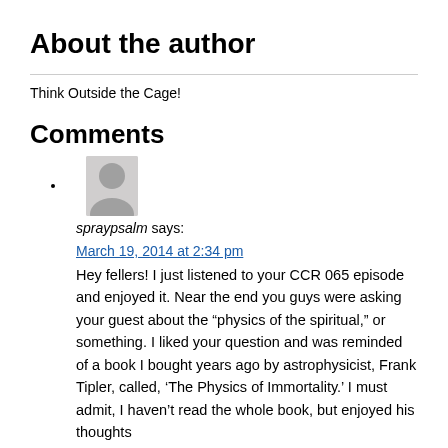About the author
Think Outside the Cage!
Comments
spraypsalm says:
March 19, 2014 at 2:34 pm
Hey fellers! I just listened to your CCR 065 episode and enjoyed it. Near the end you guys were asking your guest about the “physics of the spiritual,” or something. I liked your question and was reminded of a book I bought years ago by astrophysicist, Frank Tipler, called, ‘The Physics of Immortality.’ I must admit, I haven’t read the whole book, but enjoyed his thoughts